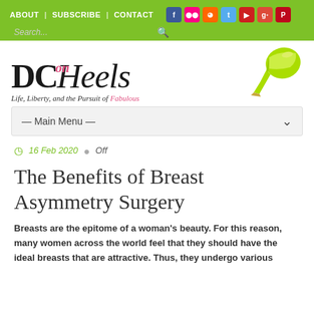ABOUT | SUBSCRIBE | CONTACT
[Figure (logo): DC on Heels logo with lime green high heel shoe. Tagline: Life, Liberty, and the Pursuit of Fabulous]
— Main Menu —
16 Feb 2020   Off
The Benefits of Breast Asymmetry Surgery
Breasts are the epitome of a woman's beauty. For this reason, many women across the world feel that they should have the ideal breasts that are attractive. Thus, they undergo various